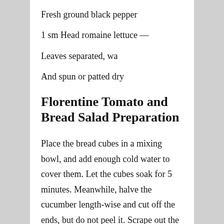Fresh ground black pepper
1 sm Head romaine lettuce —
Leaves separated, wa
And spun or patted dry
Florentine Tomato and Bread Salad Preparation
Place the bread cubes in a mixing bowl, and add enough cold water to cover them. Let the cubes soak for 5 minutes. Meanwhile, halve the cucumber length-wise and cut off the ends, but do not peel it. Scrape out the